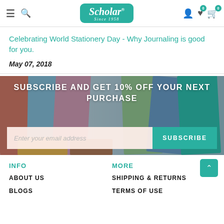[Figure (screenshot): Scholar store website header with hamburger menu, search icon, Scholar logo (teal rounded box, 'Since 1958'), user icon, heart icon with badge 0, cart icon with badge 0]
Celebrating World Stationery Day - Why Journaling is good for you.
May 07, 2018
[Figure (infographic): Subscribe banner with colorful notebooks in background. Text: SUBSCRIBE AND GET 10% OFF YOUR NEXT PURCHASE. Email input field with placeholder 'Enter your email address' and teal SUBSCRIBE button.]
INFO
MORE
ABOUT US
SHIPPING & RETURNS
BLOGS
TERMS OF USE